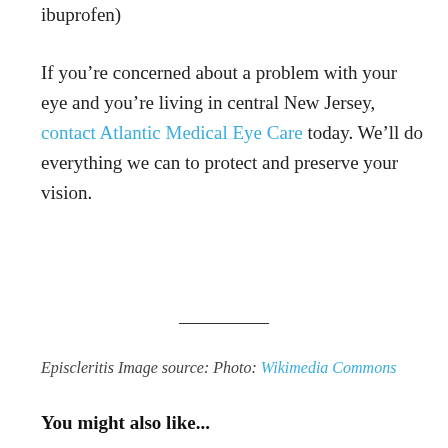ibuprofen)
If you’re concerned about a problem with your eye and you’re living in central New Jersey, contact Atlantic Medical Eye Care today. We’ll do everything we can to protect and preserve your vision.
Episcleritis Image source: Photo: Wikimedia Commons
You might also like...